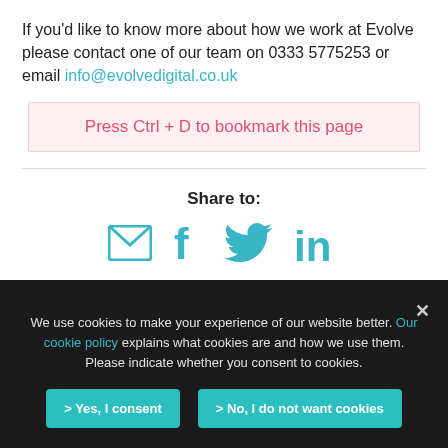If you'd like to know more about how we work at Evolve please contact one of our team on 0333 5775253 or email info@evolvedigital.co.uk
Press Ctrl + D to bookmark this page
Share to:
[Figure (infographic): Social share icons: email/envelope, Facebook f, Twitter bird, LinkedIn in — all in teal/cyan color]
We use cookies to make your experience of our website better. Our cookie policy explains what cookies are and how we use them. Please indicate whether you consent to cookies.
> Yes, I consent
> No, I do not want cookies